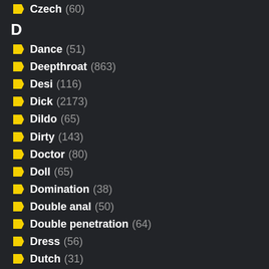Czech (60)
D
Dance (51)
Deepthroat (863)
Desi (116)
Dick (2173)
Dildo (65)
Dirty (143)
Doctor (80)
Doll (65)
Domination (38)
Double anal (50)
Double penetration (64)
Dress (56)
Dutch (31)
E
Ebony (883)
Ejaculation (16)